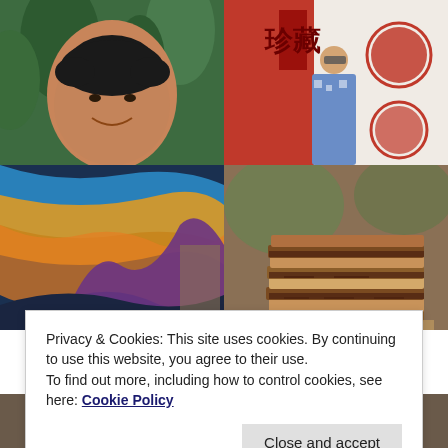[Figure (photo): 2x2 grid of photos: top-left shows an older woman with short dark hair smiling, surrounded by tropical foliage; top-right shows a young woman in a blue floral dress standing near a red door with Chinese decorations; bottom-left shows a colorful abstract painting with blue, yellow, and purple swirls; bottom-right shows a stack of grilled/toasted sandwiches or pastries]
Privacy & Cookies: This site uses cookies. By continuing to use this website, you agree to their use.
To find out more, including how to control cookies, see here: Cookie Policy
[Figure (photo): Partial view of a person at the bottom of the page]